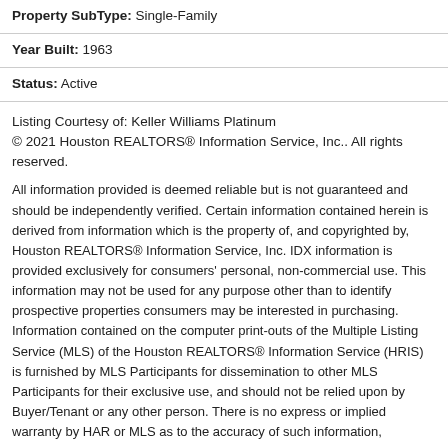Property SubType: Single-Family
Year Built: 1963
Status: Active
Listing Courtesy of: Keller Williams Platinum
© 2021 Houston REALTORS® Information Service, Inc.. All rights reserved.
All information provided is deemed reliable but is not guaranteed and should be independently verified. Certain information contained herein is derived from information which is the property of, and copyrighted by, Houston REALTORS® Information Service, Inc. IDX information is provided exclusively for consumers' personal, non-commercial use. This information may not be used for any purpose other than to identify prospective properties consumers may be interested in purchasing. Information contained on the computer print-outs of the Multiple Listing Service (MLS) of the Houston REALTORS® Information Service (HRIS) is furnished by MLS Participants for dissemination to other MLS Participants for their exclusive use, and should not be relied upon by Buyer/Tenant or any other person. There is no express or implied warranty by HAR or MLS as to the accuracy of such information,